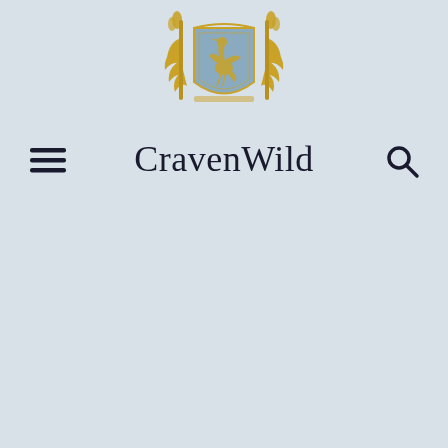[Figure (logo): CravenWild heraldic crest: a blue shield with a golden heron/phoenix bird in the center, surrounded by golden decorative foliage and flanked by two golden torch-like elements on either side.]
CravenWild
[Figure (other): Hamburger menu icon (three horizontal lines) on the left side of the navigation bar.]
[Figure (other): Search magnifying glass icon on the right side of the navigation bar.]